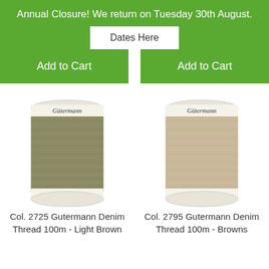Annual Closure! We return on Tuesday 30th August.
Dates Here
Add to Cart
Add to Cart
[Figure (photo): Spool of Gütermann Denim thread 100m - 110 yds/ygs, olive/khaki green color]
[Figure (photo): Spool of Gütermann Denim thread 100m - 110 yds/ygs, beige/brown color]
Col. 2725 Gutermann Denim Thread 100m - Light Brown
Col. 2795 Gutermann Denim Thread 100m - Browns